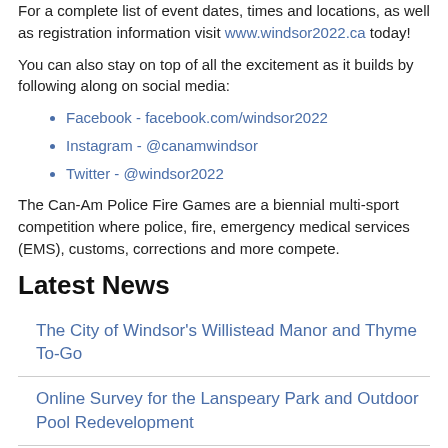For a complete list of event dates, times and locations, as well as registration information visit www.windsor2022.ca today!
You can also stay on top of all the excitement as it builds by following along on social media:
Facebook - facebook.com/windsor2022
Instagram - @canamwindsor
Twitter - @windsor2022
The Can-Am Police Fire Games are a biennial multi-sport competition where police, fire, emergency medical services (EMS), customs, corrections and more compete.
Latest News
The City of Windsor's Willistead Manor and Thyme To-Go
Online Survey for the Lanspeary Park and Outdoor Pool Redevelopment
Open Streets Windsor 2022 Brings 8 Kilometres